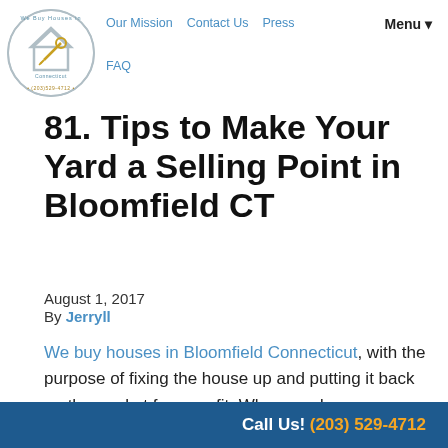Our Mission   Contact Us   Press   Menu ▼   FAQ
[Figure (logo): Circular logo with house icon and text 'We Buy Houses in Connecticut (203)529-4712']
81. Tips to Make Your Yard a Selling Point in Bloomfield CT
August 1, 2017
By Jerryll
We buy houses in Bloomfield Connecticut, with the purpose of fixing the house up and putting it back on the market for a profit. When we do so we pay close attention to curb appeal as this
Call Us! (203) 529-4712